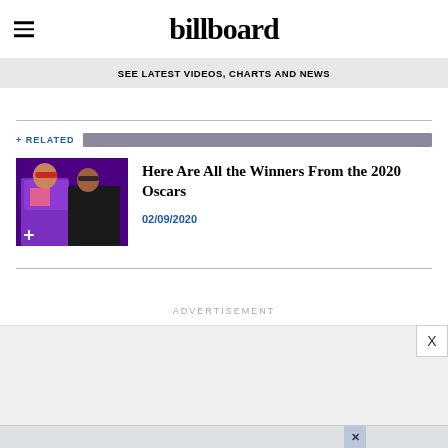billboard
SEE LATEST VIDEOS, CHARTS AND NEWS
+ RELATED
[Figure (photo): Two men at an event; one wearing a vibrant purple suit with a pink shirt, one in black attire]
Here Are All the Winners From the 2020 Oscars
02/09/2020
ADVERTISEMENT